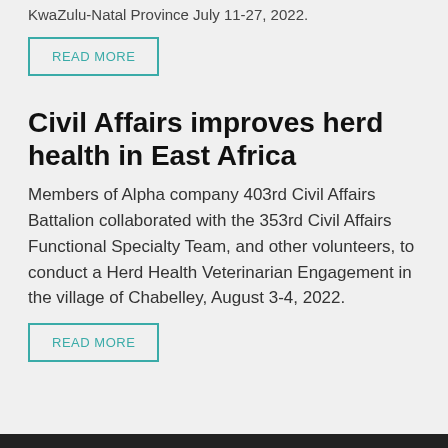KwaZulu-Natal Province July 11-27, 2022.
READ MORE
Civil Affairs improves herd health in East Africa
Members of Alpha company 403rd Civil Affairs Battalion collaborated with the 353rd Civil Affairs Functional Specialty Team, and other volunteers, to conduct a Herd Health Veterinarian Engagement in the village of Chabelley, August 3-4, 2022.
READ MORE